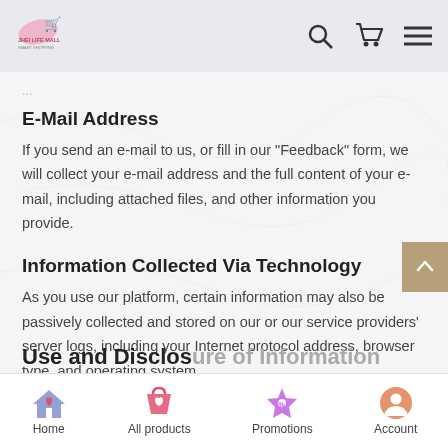JheiLife Mall — navigation bar with logo, search, cart, and menu icons
E-Mail Address
If you send an e-mail to us, or fill in our "Feedback" form, we will collect your e-mail address and the full content of your e-mail, including attached files, and other information you provide.
Information Collected Via Technology
As you use our platform, certain information may also be passively collected and stored on our or our service providers' server logs, including your Internet protocol address, browser type, and operating system.
Use and Disclosure of Information
Home | All products | Promotions | Account